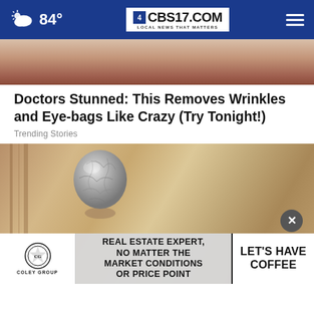84° CBS17.COM LOCAL NEWS THAT MATTERS
[Figure (photo): Close-up photo of a person's lips and lower face]
Doctors Stunned: This Removes Wrinkles and Eye-bags Like Crazy (Try Tonight!)
Trending Stories
[Figure (photo): Photo of a door knob covered in aluminum foil, with an ad overlay at the bottom reading: REAL ESTATE EXPERT, NO MATTER THE MARKET CONDITIONS OR PRICE POINT / LET'S HAVE COFFEE — Coley Group]